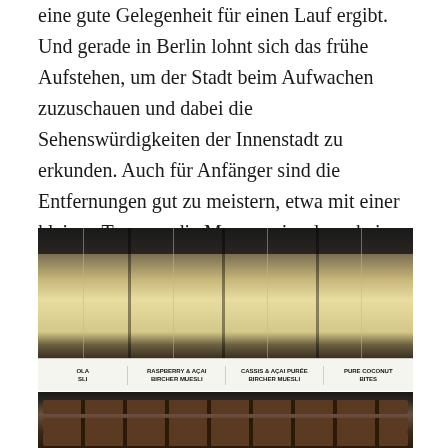eine gute Gelegenheit für einen Lauf ergibt. Und gerade in Berlin lohnt sich das frühe Aufstehen, um der Stadt beim Aufwachen zuzuschauen und dabei die Sehenswürdigkeiten der Innenstadt zu erkunden. Auch für Anfänger sind die Entfernungen gut zu meistern, etwa mit einer kleinen Tour um die Museumsinsel, vorbei am Fernsehturm und Siegessäule mit Zieleinlauf am Brandenburger Tor.
[Figure (photo): Photo of glass jars containing layered bircher muesli and coconut bites on a shelf, with product labels below showing: RASPBERRY & AÇAI BIRCHER MUESLI, CASSIS & AÇAI PURÉE BIRCHER MUESLI, PURE COCONUT BITES]
[Figure (photo): Photo of dark chocolate pieces arranged on a shelf, partially visible]